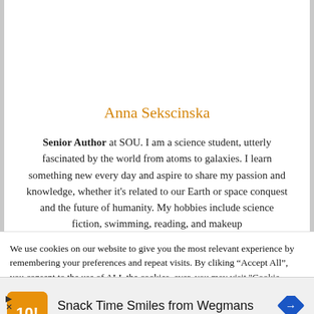Anna Sekscinska
Senior Author at SOU. I am a science student, utterly fascinated by the world from atoms to galaxies. I learn something new every day and aspire to share my passion and knowledge, whether it's related to our Earth or space conquest and the future of humanity. My hobbies include science fiction, swimming, reading, and makeup
We use cookies on our website to give you the most relevant experience by remembering your preferences and repeat visits. By clicking “Accept All”, you consent to the use of ALL the cookies. However, you may visit “Cookie Settings” to provide a controlled
Snack Time Smiles from Wegmans
Wegmans